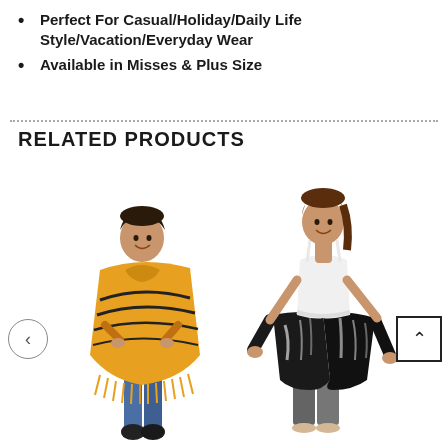Perfect For Casual/Holiday/Daily Life Style/Vacation/Everyday Wear
Available in Misses & Plus Size
RELATED PRODUCTS
[Figure (photo): Woman wearing a yellow fringed poncho with black zigzag pattern, blue jeans and black boots, smiling against white background]
[Figure (photo): Woman wearing a white camisole top and black and white tie-dye wide-leg culottes/pants, holding the sides out, against white background]